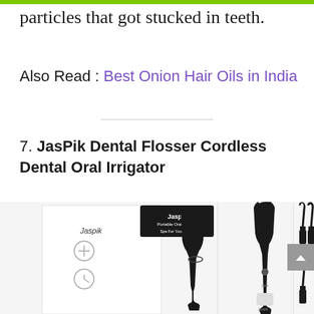particles that got stucked in teeth.
Also Read : Best Onion Hair Oils in India
7. JasPik Dental Flosser Cordless Dental Oral Irrigator
[Figure (photo): Product image of JasPik Dental Flosser Cordless Dental Oral Irrigator showing the device and its attachments in black color, along with the product box packaging.]